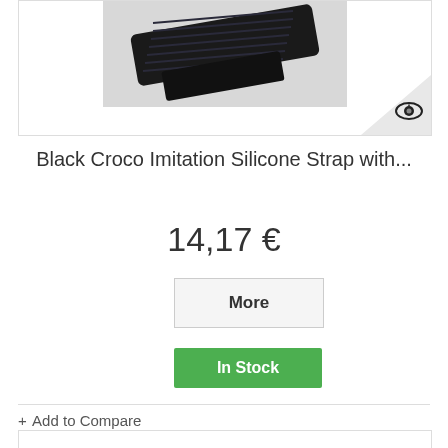[Figure (photo): Product image of a black croco imitation silicone strap, shown against a white background. A triangular grey corner with an eye icon is visible in the bottom-right of the image frame.]
Black Croco Imitation Silicone Strap with...
14,17 €
More
In Stock
+ Add to Compare